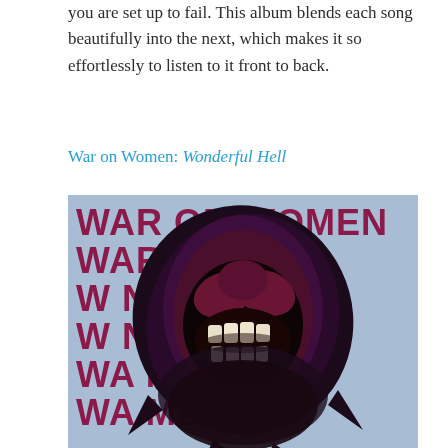you are set up to fail. This album blends each song beautifully into the next, which makes it so effortlessly to listen to it front to back.
War on Women: Wonderful Hell
[Figure (illustration): Album cover art for War on Women 'Wonderful Hell'. Light blue background with repeated bold crimson/magenta text reading 'WAR ON WOMEN' in large block letters arranged in horizontal rows. Overlaid on the text is a large dark stylized rose with thorns, rendered in deep purple/black, with the center of the rose open to reveal bared teeth (a toothy mouth). The overall design has a punk/protest art aesthetic.]